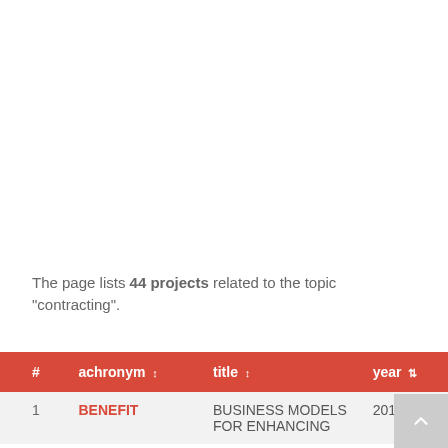The page lists 44 projects related to the topic "contracting".
| # | achronym ↓↑ | title ↓↑ | year ⇅ |
| --- | --- | --- | --- |
| 1 | BENEFIT | BUSINESS MODELS FOR ENHANCING | 2014 |